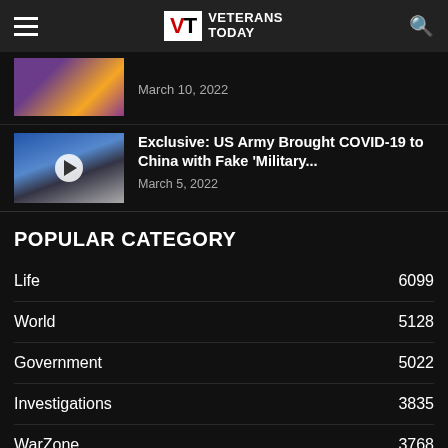Veterans Today
[Figure (photo): Partial article thumbnail showing colorful image, date March 10, 2022]
March 10, 2022
[Figure (photo): Article thumbnail showing Trump and Pence at press briefing with video play button overlay]
Exclusive: US Army Brought COVID-19 to China with Fake 'Military...
March 5, 2022
POPULAR CATEGORY
Life  6099
World  5128
Government  5022
Investigations  3835
WarZone  3768
Health & Wellness  1472